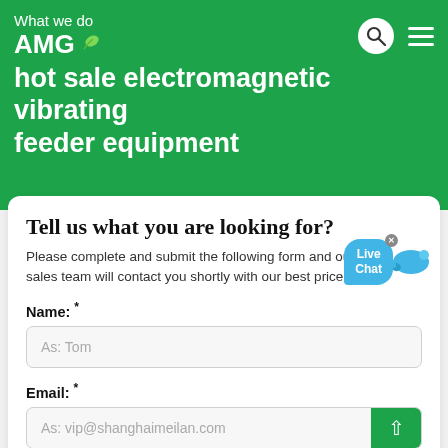What we do
AMG
hot sale electromagnetic vibrating feeder equipment
Tell us what you are looking for?
Please complete and submit the following form and our sales team will contact you shortly with our best price.
Name: *
As: Tom
Email: *
As: vip@shanghaimeilan.com
Phone: *
With Country Code